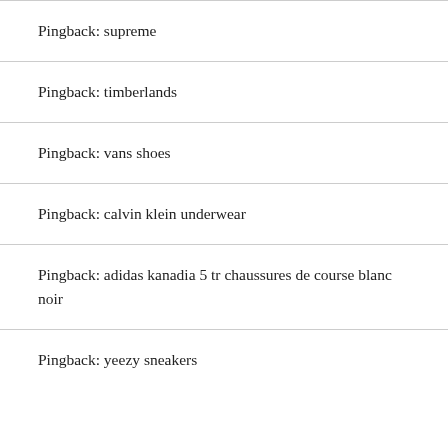Pingback: supreme
Pingback: timberlands
Pingback: vans shoes
Pingback: calvin klein underwear
Pingback: adidas kanadia 5 tr chaussures de course blanc noir
Pingback: yeezy sneakers